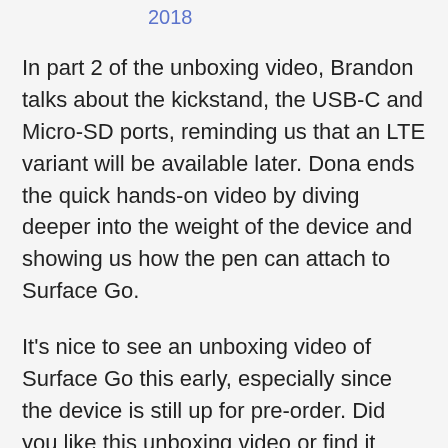2018
In part 2 of the unboxing video, Brandon talks about the kickstand, the USB-C and Micro-SD ports, reminding us that an LTE variant will be available later. Dona ends the quick hands-on video by diving deeper into the weight of the device and showing us how the pen can attach to Surface Go.
It's nice to see an unboxing video of Surface Go this early, especially since the device is still up for pre-order. Did you like this unboxing video or find it exciting? Let us know your thoughts in the comments below.